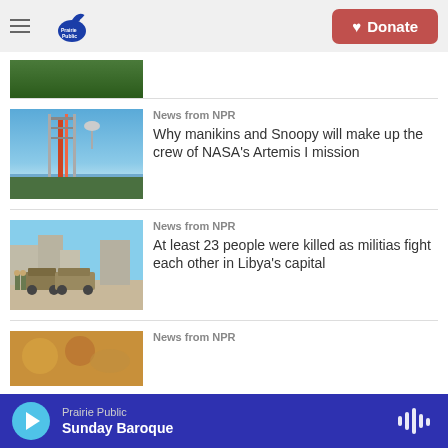Prairie Public — Donate
[Figure (photo): Partial view of a green crop field or vegetation, partially visible at top of content area]
News from NPR
Why manikins and Snoopy will make up the crew of NASA's Artemis I mission
[Figure (photo): NASA rocket on launch pad reflected in water, blue sky background]
News from NPR
At least 23 people were killed as militias fight each other in Libya's capital
[Figure (photo): Military vehicles and soldiers on a street in Libya]
News from NPR
[Figure (photo): Partial view of food item, golden/brown colored]
Prairie Public — Sunday Baroque